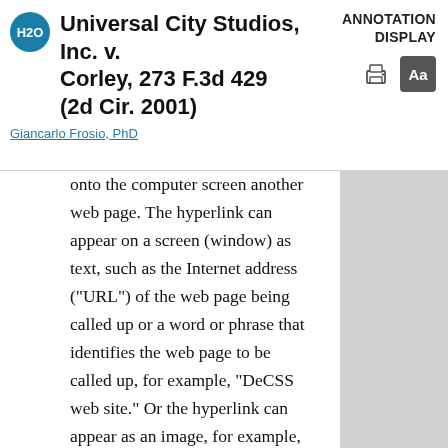Universal City Studios, Inc. v. Corley, 273 F.3d 429 (2d Cir. 2001)
Giancarlo Frosio, PhD
ANNOTATION DISPLAY
onto the computer screen another web page. The hyperlink can appear on a screen (window) as text, such as the Internet address ("URL") of the web page being called up or a word or phrase that identifies the web page to be called up, for example, "DeCSS web site." Or the hyperlink can appear as an image, for example, an icon depicting a person sitting at a computer watching a DVD movie and text stating "click here to access DeCSS and see DVD movies for free!" The code for the web page containing the hyperlink contains a computer instruction that associates the link with